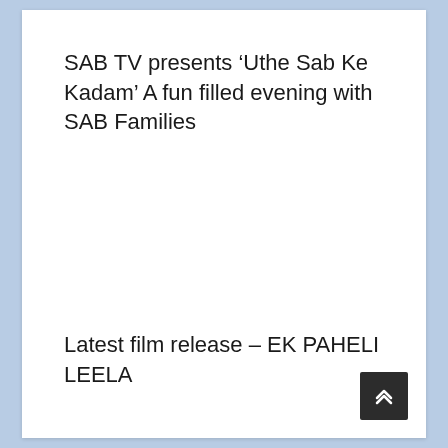SAB TV presents ‘Uthe Sab Ke Kadam’ A fun filled evening with SAB Families
Latest film release – EK PAHELI LEELA